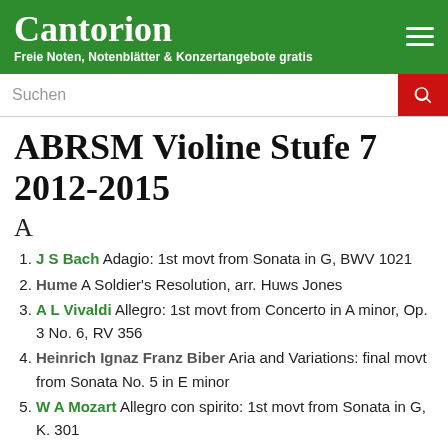Cantorion — Freie Noten, Notenblätter & Konzertangebote gratis
ABRSM Violine Stufe 7 2012-2015
A
J S Bach Adagio: 1st movt from Sonata in G, BWV 1021
Hume A Soldier's Resolution, arr. Huws Jones
A L Vivaldi Allegro: 1st movt from Concerto in A minor, Op. 3 No. 6, RV 356
Heinrich Ignaz Franz Biber Aria and Variations: final movt from Sonata No. 5 in E minor
W A Mozart Allegro con spirito: 1st movt from Sonata in G, K. 301
G P Telemann Allemanda–Largo: 1st movt from Sonata in D, TWV 41:D1